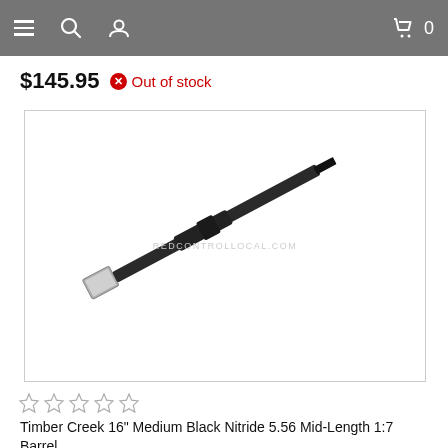Navigation bar with menu, search, user icons and cart (0)
$145.95  Out of stock
[Figure (photo): A Timber Creek 16 inch medium black nitride 5.56 mid-length 1:7 rifle barrel, shown diagonally against a white background. The barrel is predominantly black/dark with a silver metallic muzzle end at the upper left and a threaded end at the lower right. A watermark reading REDCONTROLLOCAL.COM appears faintly in the center.]
☆☆☆☆☆
Timber Creek 16" Medium Black Nitride 5.56 Mid-Length 1:7 Barrel